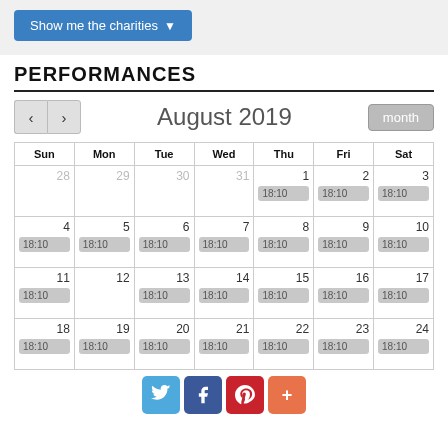Show me the charities ▼
PERFORMANCES
[Figure (other): Monthly calendar for August 2019 showing performance times at 18:10 on various days]
[Figure (other): Social sharing buttons: Twitter, Facebook, Pinterest, Plus]